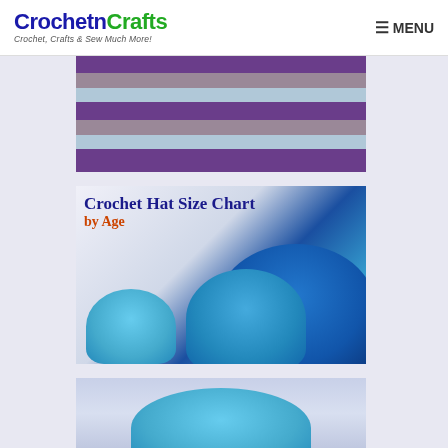CrochetnCrafts — Crochet, Crafts & Sew Much More! MENU
[Figure (photo): Close-up of a striped crochet blanket in purple, grey, and light blue colors]
[Figure (photo): Crochet Hat Size Chart by Age — promotional image showing multiple blue crocheted hats of different sizes stacked together, with text 'Crochet Hat Size Chart' in dark blue and 'by Age' in orange-red]
[Figure (photo): Partial view of another crochet item, light blue tones, cropped at bottom of page]